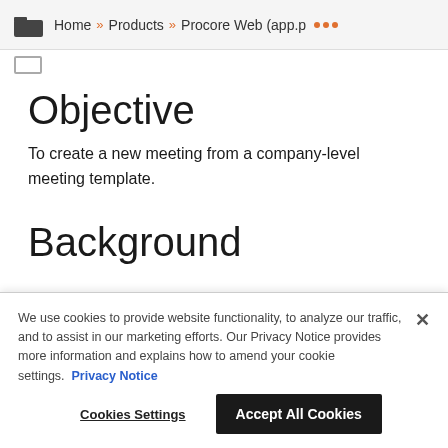Home » Products » Procore Web (app.p ···
Objective
To create a new meeting from a company-level meeting template.
Background
We use cookies to provide website functionality, to analyze our traffic, and to assist in our marketing efforts. Our Privacy Notice provides more information and explains how to amend your cookie settings. Privacy Notice
Cookies Settings   Accept All Cookies